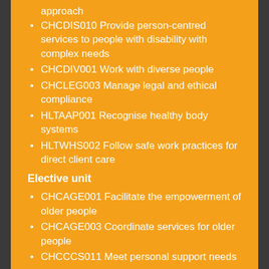approach
CHCDIS010 Provide person-centred services to people with disability with complex needs
CHCDIV001 Work with diverse people
CHCLEG003 Manage legal and ethical compliance
HLTAAP001 Recognise healthy body systems
HLTWHS002 Follow safe work practices for direct client care
Elective unit
CHCAGE001 Facilitate the empowerment of older people
CHCAGE003 Coordinate services for older people
CHCCCS011 Meet personal support needs